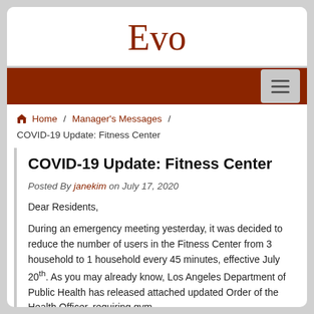Evo
Home / Manager's Messages / COVID-19 Update: Fitness Center
COVID-19 Update: Fitness Center
Posted By janekim on July 17, 2020
Dear Residents,
During an emergency meeting yesterday, it was decided to reduce the number of users in the Fitness Center from 3 household to 1 household every 45 minutes, effective July 20th. As you may already know, Los Angeles Department of Public Health has released attached updated Order of the Health Officer, requiring gym